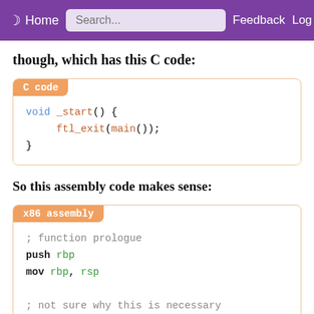Home | Search... | Feedback | Log in
though, which has this C code:
[Figure (screenshot): C code block showing: void _start() { ftl_exit(main()); }]
So this assembly code makes sense:
[Figure (screenshot): x86 assembly code block showing: ; function prologue, push rbp, mov rbp, rsp, ; not sure why this is necessary, mov eax, 0x0]